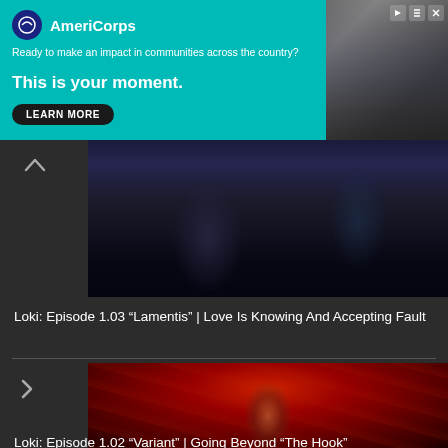[Figure (other): AmeriCorps advertisement banner with teal background. Logo, tagline 'Ready to make an impact in communities across the country?', headline 'This is your moment.', LEARN MORE button, and image of person on right.]
[Figure (photo): Dark screenshot from Loki TV show episode 1.03, showing figures in dark costumes.]
Loki: Episode 1.03 “Lamentis” | Love Is Knowing And Accepting Fault
[Figure (photo): Red-tinted screenshot from Loki TV show episode 1.02, showing Loki character in a red-lit environment.]
Loki: Episode 1.02 “Variant” | Going Beyond “The Hook”